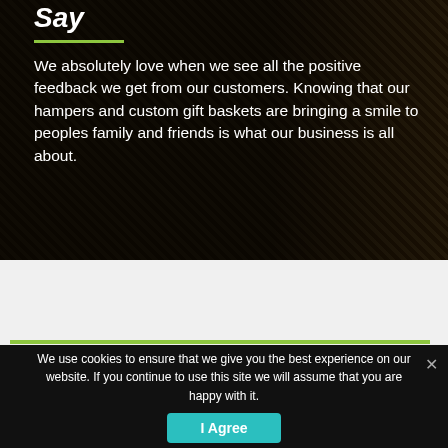Say
We absolutely love when we see all the positive feedback we get from our customers. Knowing that our hampers and custom gift baskets are bringing a smile to peoples family and friends is what our business is all about.
We use cookies to ensure that we give you the best experience on our website. If you continue to use this site we will assume that you are happy with it.